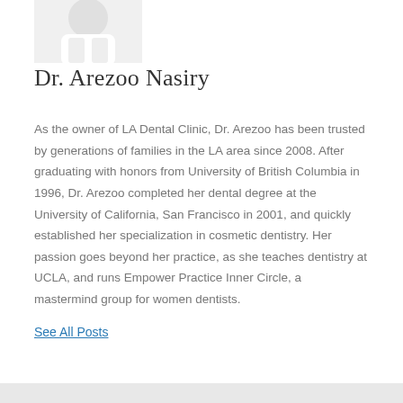[Figure (photo): Partial photo of Dr. Arezoo Nasiry in white coat, cropped at top of page]
Dr. Arezoo Nasiry
As the owner of LA Dental Clinic, Dr. Arezoo has been trusted by generations of families in the LA area since 2008. After graduating with honors from University of British Columbia in 1996, Dr. Arezoo completed her dental degree at the University of California, San Francisco in 2001, and quickly established her specialization in cosmetic dentistry. Her passion goes beyond her practice, as she teaches dentistry at UCLA, and runs Empower Practice Inner Circle, a mastermind group for women dentists.
See All Posts